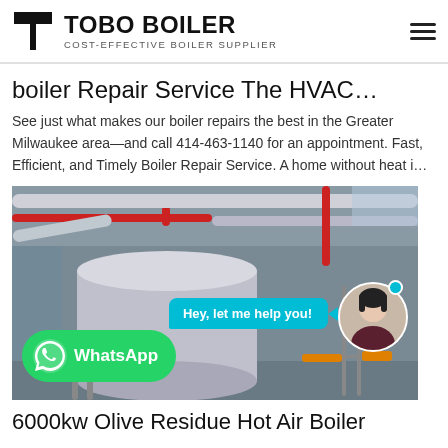TOBO BOILER - COST-EFFECTIVE BOILER SUPPLIER
boiler Repair Service The HVAC…
See just what makes our boiler repairs the best in the Greater Milwaukee area—and call 414-463-1140 for an appointment. Fast, Efficient, and Timely Boiler Repair Service. A home without heat i…
[Figure (photo): Industrial boiler/HVAC system interior showing large silver insulated pipes and ductwork in a factory setting, with a WhatsApp chat widget overlay showing 'Hey, let me help you!' and a WhatsApp button at the bottom left]
6000kw Olive Residue Hot Air Boiler